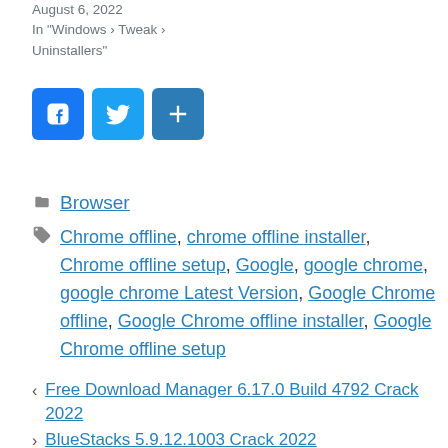August 6, 2022
In "Windows › Tweak › Uninstallers"
[Figure (other): Social share buttons: Facebook (blue), Twitter (blue), Share/Add (blue)]
Browser
Chrome offline, chrome offline installer, Chrome offline setup, Google, google chrome, google chrome Latest Version, Google Chrome offline, Google Chrome offline installer, Google Chrome offline setup
‹ Free Download Manager 6.17.0 Build 4792 Crack 2022
› BlueStacks 5.9.12.1003 Crack 2022